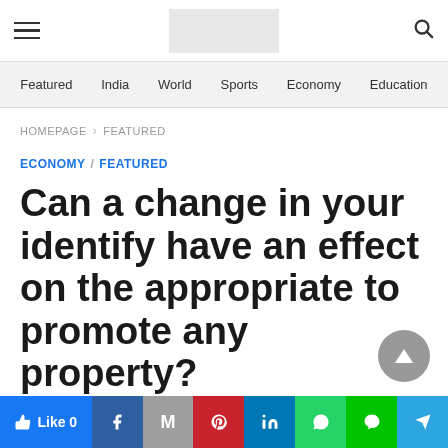Navigation bar with hamburger menu, logo placeholder, and search icon
Featured  India  World  Sports  Economy  Education
HOMEPAGE > FEATURED
ECONOMY / FEATURED
Can a change in your identify have an effect on the appropriate to promote any property?
Like 0 | Facebook | Gmail | Pinterest | LinkedIn | WhatsApp | Line | Telegram